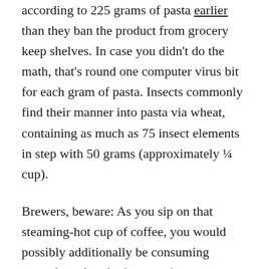according to 225 grams of pasta earlier than they ban the product from grocery keep shelves. In case you didn't do the math, that's round one computer virus bit for each gram of pasta. Insects commonly find their manner into pasta via wheat, containing as much as 75 insect elements in step with 50 grams (approximately ¼ cup).
Brewers, beware: As you sip on that steaming-hot cup of coffee, you would possibly additionally be consuming around one hundred twenty insect elements. The FDA approves espresso samples that can be less than 10 percentage insect-infested. At that price, the average coffee drinker could unknowingly devour nearly one hundred forty,000